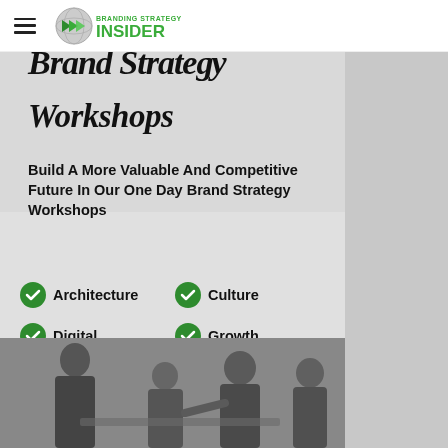Branding Strategy Insider
[Figure (illustration): Brand Strategy Workshops promotional image with italic handwritten-style title 'Brand Strategy Workshops', subtitle 'Build A More Valuable And Competitive Future In Our One Day Brand Strategy Workshops', six checklist items (Architecture, Culture, Digital, Growth, Positioning, Storytelling), and a black-and-white photo of business people in a meeting at the bottom.]
Workshops
Build A More Valuable And Competitive Future In Our One Day Brand Strategy Workshops
Architecture
Culture
Digital
Growth
Positioning
Storytelling